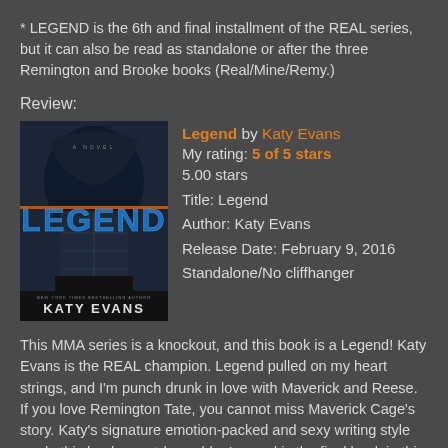* LEGEND is the 6th and final installment of the REAL series, but it can also be read as standalone or after the three Remington and Brooke books (Real/Mine/Remy.)
Review:
[Figure (illustration): Book cover of 'Legend' by Katy Evans — dark cover featuring a hooded muscular man, with 'LEGEND' in large blue text and 'KATY EVANS' at the bottom.]
Legend by Katy Evans
My rating: 5 of 5 stars
5.00 stars
Title: Legend
Author: Katy Evans
Release Date: February 9, 2016
Standalone/No cliffhanger
This MMA series is a knockout, and this book is a Legend! Katy Evans is the REAL champion. Legend pulled on my heart strings, and I'm punch drunk in love with Maverick and Reese. If you love Remington Tate, you cannot miss Maverick Cage's story. Katy's signature emotion-packed and sexy writing style made this book unputdownable. Legend is the final book in this epic series. You don't want to miss this one! Get one-clicking. This book can be read as a